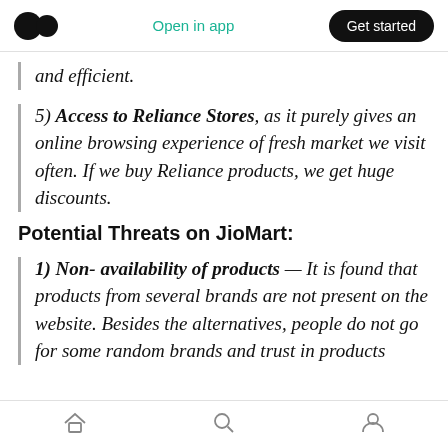Medium app header: logo, Open in app, Get started
and efficient.
5) Access to Reliance Stores, as it purely gives an online browsing experience of fresh market we visit often. If we buy Reliance products, we get huge discounts.
Potential Threats on JioMart:
1) Non- availability of products — It is found that products from several brands are not present on the website. Besides the alternatives, people do not go for some random brands and trust in products
Bottom navigation bar: Home, Search, Profile